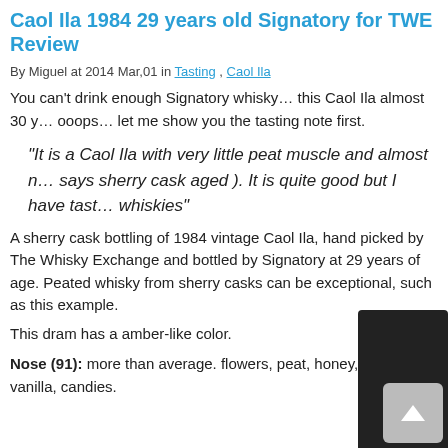Caol Ila 1984 29 years old Signatory for TWE Review
By Miguel at 2014 Mar,01 in Tasting , Caol Ila
You can't drink enough Signatory whisky… this Caol Ila almost 30 y… ooops… let me show you the tasting note first.
“It is a Caol Ila with very little peat muscle and almost n… says sherry cask aged ). It is quite good but I have tast… whiskies”
A sherry cask bottling of 1984 vintage Caol Ila, hand picked by The Whisky Exchange and bottled by Signatory at 29 years of age. Peated whisky from sherry casks can be exceptional, such as this example.
This dram has a amber-like color.
Nose (91): more than average. flowers, peat, honey, spices, vanilla, candies.